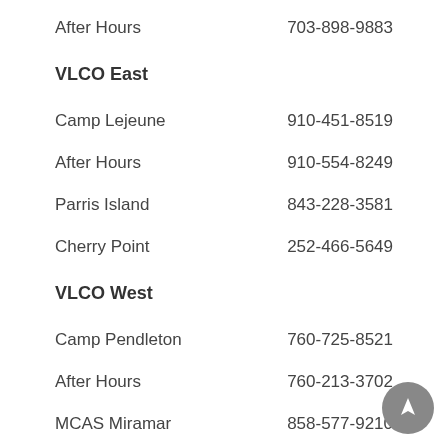After Hours   703-898-9883
VLCO East
Camp Lejeune   910-451-8519
After Hours   910-554-8249
Parris Island   843-228-3581
Cherry Point   252-466-5649
VLCO West
Camp Pendleton   760-725-8521
After Hours   760-213-3702
MCAS Miramar   858-577-9210